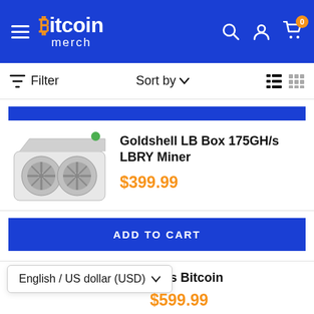Bitcoin merch — navigation header with hamburger menu, logo, search, account, and cart (0 items)
Filter   Sort by ∨   list/grid view toggles
[Figure (photo): Blue 'ADD TO CART' button strip at top of product listing]
[Figure (photo): Goldshell LB Box LBRY miner hardware — white box with dual cooling fans]
Goldshell LB Box 175GH/s LBRY Miner
$399.99
ADD TO CART
Bitmain Antminer S9 14TH/s Bitcoin
$599.99
English / US dollar (USD) ∨